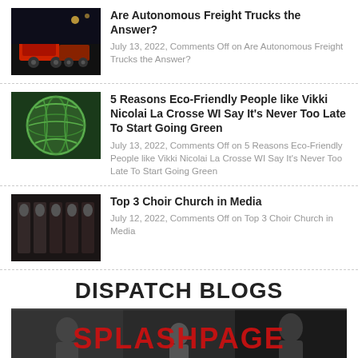[Figure (photo): Thumbnail of freight trucks at night]
Are Autonomous Freight Trucks the Answer?
July 13, 2022, Comments Off on Are Autonomous Freight Trucks the Answer?
[Figure (photo): Green globe illustration]
5 Reasons Eco-Friendly People like Vikki Nicolai La Crosse WI Say It's Never Too Late To Start Going Green
July 13, 2022, Comments Off on 5 Reasons Eco-Friendly People like Vikki Nicolai La Crosse WI Say It's Never Too Late To Start Going Green
[Figure (photo): Choir church group in black robes]
Top 3 Choir Church in Media
July 12, 2022, Comments Off on Top 3 Choir Church in Media
DISPATCH BLOGS
[Figure (photo): Splash Page banner with red text over black and white photos of people]